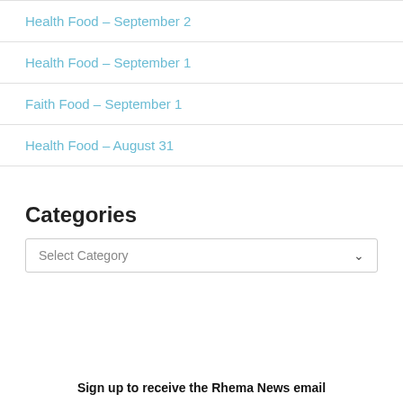Health Food – September 2
Health Food – September 1
Faith Food – September 1
Health Food – August 31
Categories
Select Category
Sign up to receive the Rhema News email